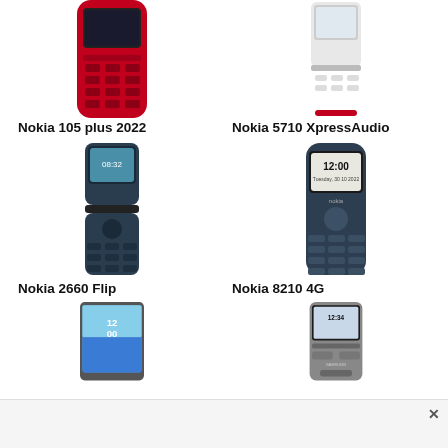[Figure (photo): Nokia 105 plus 2022 red feature phone, top portion visible]
[Figure (photo): Nokia 5710 XpressAudio flip-style phone in white/red]
Nokia 105 plus 2022
Nokia 5710 XpressAudio
[Figure (photo): Nokia 2660 Flip phone in dark teal/blue, open position]
[Figure (photo): Nokia 8210 4G classic bar phone in charcoal/silver]
Nokia 2660 Flip
Nokia 8210 4G
[Figure (photo): Nokia smartphone tablet partial view with ocean wallpaper]
[Figure (photo): Samsung small feature phone showing 12:34 on screen]